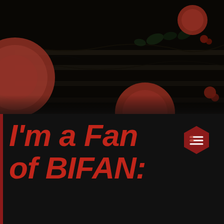[Figure (photo): Dark atmospheric photo showing stone or concrete steps with vines/roots, with blurred red/pink round fruits (possibly apples or similar) in the foreground, out of focus]
I'm a Fan of BIFAN: